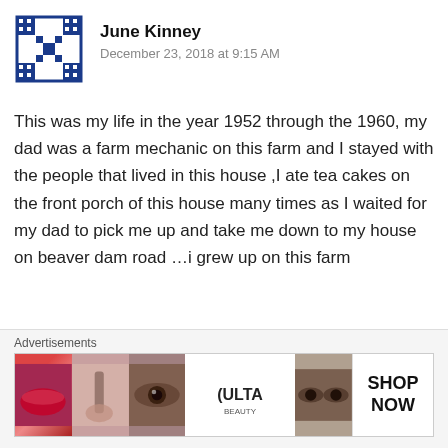[Figure (illustration): Avatar icon with blue geometric/quilt pattern on white background]
June Kinney
December 23, 2018 at 9:15 AM
This was my life in the year 1952 through the 1960, my dad was a farm mechanic on this farm and I stayed with the people that lived in this house ,I ate tea cakes on the front porch of this house many times as I waited for my dad to pick me up and take me down to my house on beaver dam road ...i grew up on this farm
★ Liked by 1 person
Reply
[Figure (screenshot): Advertisements banner showing Ulta beauty ad with cosmetics imagery and SHOP NOW call to action]